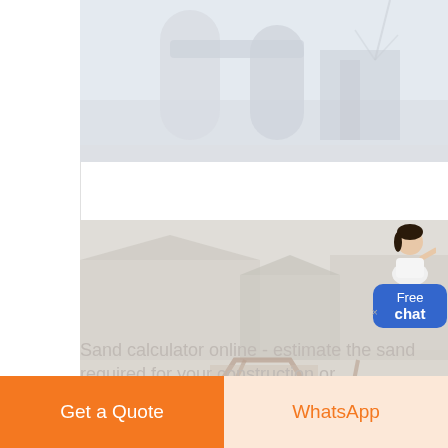[Figure (photo): Industrial building or silo structure, faded/washed out image]
[Figure (photo): Railway tracks with industrial buildings in background, faded/washed out image]
[Figure (illustration): Free chat widget with a woman avatar and blue rounded rectangle button saying Free chat]
Sand calculator online - estimate the sand required for your construction or landscaping project in weight
Get a Quote
WhatsApp